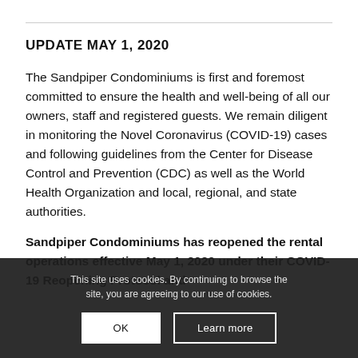UPDATE MAY 1, 2020
The Sandpiper Condominiums is first and foremost committed to ensure the health and well-being of all our owners, staff and registered guests. We remain diligent in monitoring the Novel Coronavirus (COVID-19) cases and following guidelines from the Center for Disease Control and Prevention (CDC) as well as the World Health Organization and local, regional, and state authorities.
Sandpiper Condominiums has reopened the rental operations effective May 1, 2020 under their COVID-19 Reopening Protocol and
This site uses cookies. By continuing to browse the site, you are agreeing to our use of cookies.